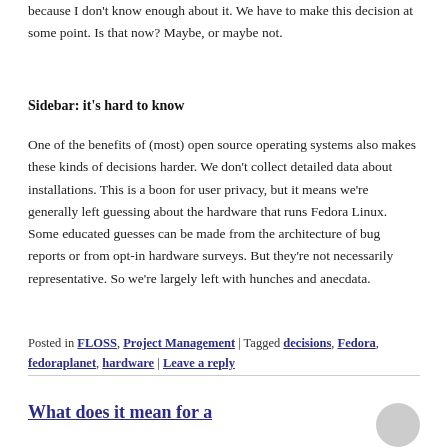because I don't know enough about it. We have to make this decision at some point. Is that now? Maybe, or maybe not.
Sidebar: it's hard to know
One of the benefits of (most) open source operating systems also makes these kinds of decisions harder. We don't collect detailed data about installations. This is a boon for user privacy, but it means we're generally left guessing about the hardware that runs Fedora Linux. Some educated guesses can be made from the architecture of bug reports or from opt-in hardware surveys. But they're not necessarily representative. So we're largely left with hunches and anecdata.
Posted in FLOSS, Project Management | Tagged decisions, Fedora, fedoraplanet, hardware | Leave a reply
What does it mean for a